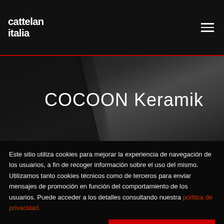cattelan italia
[Figure (photo): Hero banner showing COCOON Keramik product with dark marble/stone texture background and diagonal dark panel on the left]
COCOON Keramik
Este sitio utiliza cookies para mejorar la experiencia de navegación de los usuarios, a fin de recoger información sobre el uso del mismo. Utilizamos tanto cookies técnicos como de terceros para enviar mensajes de promoción en función del comportamiento de los usuarios. Puede acceder a los detalles consultando nuestra política de privacidad.
Configuraciones
ACEPTAR TODAS